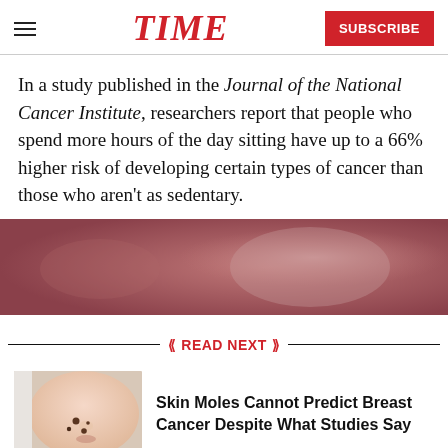TIME — SUBSCRIBE
In a study published in the Journal of the National Cancer Institute, researchers report that people who spend more hours of the day sitting have up to a 66% higher risk of developing certain types of cancer than those who aren't as sedentary.
[Figure (photo): Blurred reddish/mauve background image, partially visible]
READ NEXT
[Figure (photo): Close-up photo of a woman's face showing skin moles on cheek]
Skin Moles Cannot Predict Breast Cancer Despite What Studies Say